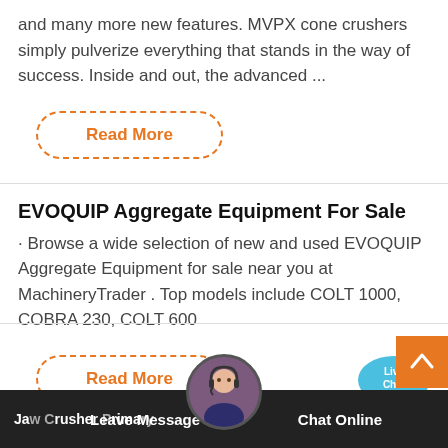and many more new features. MVPX cone crushers simply pulverize everything that stands in the way of success. Inside and out, the advanced ...
Read More
EVOQUIP Aggregate Equipment For Sale
· Browse a wide selection of new and used EVOQUIP Aggregate Equipment for sale near you at MachineryTrader . Top models include COLT 1000, COBRA 230, COLT 600
Read More
Jaw Crusher For Primary Crushing | For ...   Leave Message   Chat Online